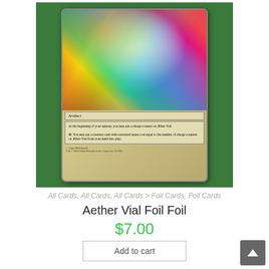[Figure (photo): Photo of a holographic foil Magic: The Gathering card (Aether Vial) on a green background. The card shows an 'Artifact' type line and text about charge counters. Art credit to Greg Hildebrandt. The card has a rainbow holographic sheen.]
All Cards, All Cards, All Cards > Foil Cards, Foil Cards
Aether Vial Foil Foil
$7.00
Add to cart